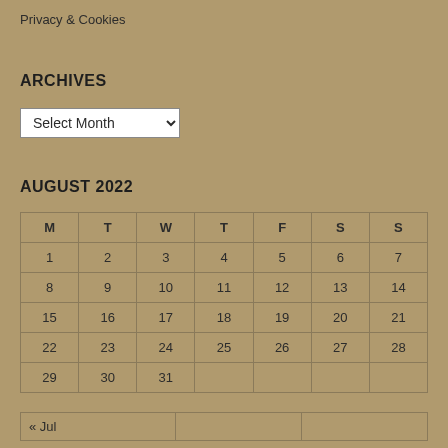Privacy & Cookies
ARCHIVES
Select Month
AUGUST 2022
| M | T | W | T | F | S | S |
| --- | --- | --- | --- | --- | --- | --- |
| 1 | 2 | 3 | 4 | 5 | 6 | 7 |
| 8 | 9 | 10 | 11 | 12 | 13 | 14 |
| 15 | 16 | 17 | 18 | 19 | 20 | 21 |
| 22 | 23 | 24 | 25 | 26 | 27 | 28 |
| 29 | 30 | 31 |  |  |  |  |
« Jul